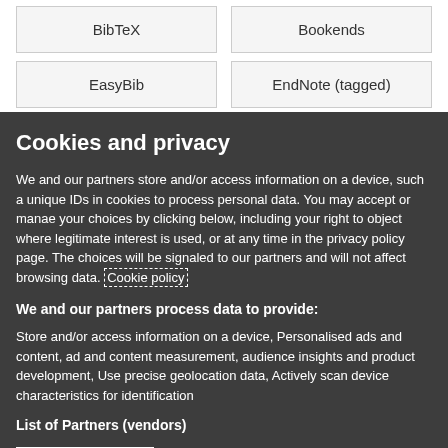BibTeX
Bookends
EasyBib
EndNote (tagged)
Cookies and privacy
We and our partners store and/or access information on a device, such as unique IDs in cookies to process personal data. You may accept or manage your choices by clicking below, including your right to object where legitimate interest is used, or at any time in the privacy policy page. These choices will be signaled to our partners and will not affect browsing data. Cookie policy
We and our partners process data to provide:
Store and/or access information on a device, Personalised ads and content, ad and content measurement, audience insights and product development, Use precise geolocation data, Actively scan device characteristics for identification
List of Partners (vendors)
I Accept